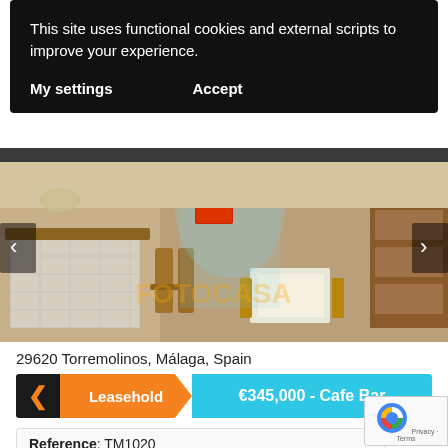This site uses functional cookies and external scripts to improve your experience.
My settings    Accept
[Figure (photo): Interior photo of a cafe bar in Torremolinos showing wicker chairs, tiled counter, tables, and various furniture]
29620 Torremolinos, Málaga, Spain
Leasehold  €345,000 - Cafe Bar
Reference: TM1020
Translate »